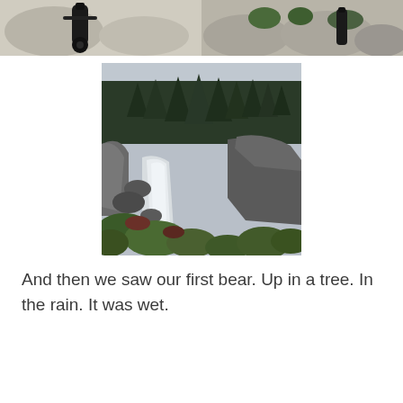[Figure (photo): Two side-by-side photos at the top of the page: left photo shows rocks with what appears to be a black object, right photo shows rocks with green vegetation and rain gear]
[Figure (photo): A waterfall rushing through a rocky gorge with tall evergreen trees (spruce/fir) on top of the rocky cliffs, green shrubs in the foreground, overcast sky, wilderness scene]
And then we saw our first bear. Up in a tree. In the rain. It was wet.